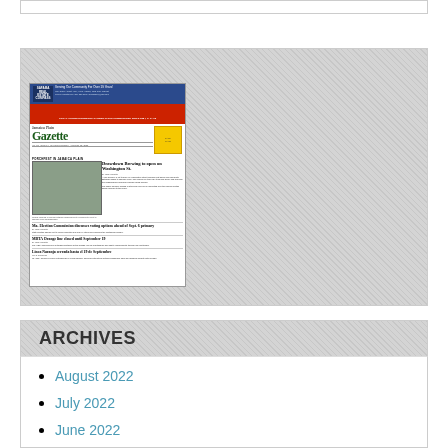[Figure (screenshot): Thumbnail image of Jamaica Plain Gazette newspaper front page showing headlines including 'Drawdown Brewing to open on Washington St.', 'MBTA Orange line closed until September 19', and 'Linea Naranja cerrada hasta el 19 de Septiembre']
ARCHIVES
August 2022
July 2022
June 2022